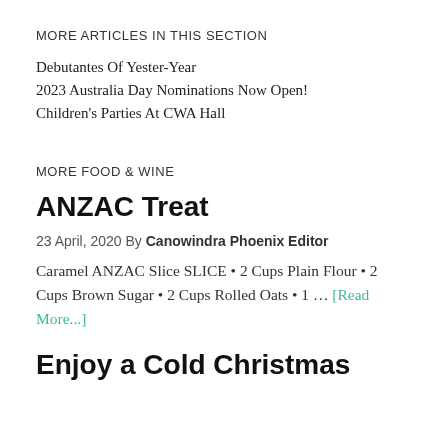MORE ARTICLES IN THIS SECTION
Debutantes Of Yester-Year
2023 Australia Day Nominations Now Open!
Children's Parties At CWA Hall
MORE FOOD & WINE
ANZAC Treat
23 April, 2020 By Canowindra Phoenix Editor
Caramel ANZAC Slice SLICE • 2 Cups Plain Flour • 2 Cups Brown Sugar • 2 Cups Rolled Oats • 1 … [Read More...]
Enjoy a Cold Christmas